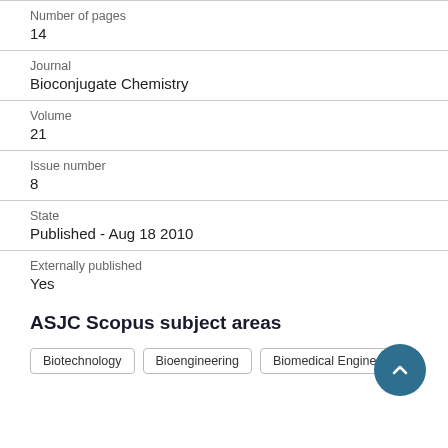Number of pages
14
Journal
Bioconjugate Chemistry
Volume
21
Issue number
8
State
Published - Aug 18 2010
Externally published
Yes
ASJC Scopus subject areas
Biotechnology
Bioengineering
Biomedical Engineering